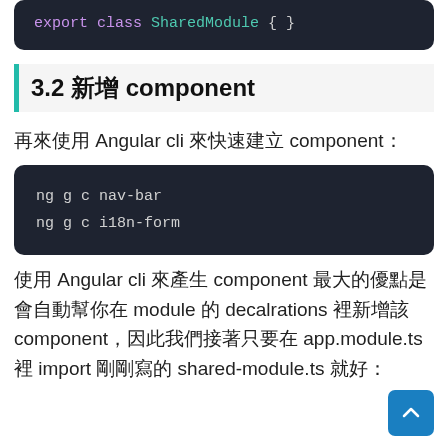[Figure (screenshot): Code block showing: export class SharedModule { }]
3.2 新增 component
再來使用 Angular cli 來快速建立 component：
[Figure (screenshot): Code block showing two CLI commands: ng g c nav-bar and ng g c i18n-form]
使用 Angular cli 來產生 component 最大的優點是會自動幫你在 module 的 decalrations 裡新增該 component，因此我們接著只要在 app.module.ts 裡 import 剛剛寫的 shared-module.ts 就好：